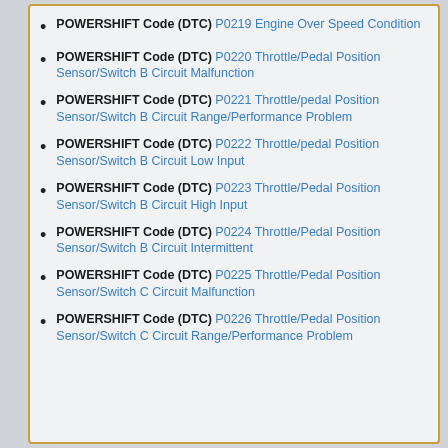POWERSHIFT Code (DTC) P0219 Engine Over Speed Condition
POWERSHIFT Code (DTC) P0220 Throttle/Pedal Position Sensor/Switch B Circuit Malfunction
POWERSHIFT Code (DTC) P0221 Throttle/pedal Position Sensor/Switch B Circuit Range/Performance Problem
POWERSHIFT Code (DTC) P0222 Throttle/pedal Position Sensor/Switch B Circuit Low Input
POWERSHIFT Code (DTC) P0223 Throttle/Pedal Position Sensor/Switch B Circuit High Input
POWERSHIFT Code (DTC) P0224 Throttle/Pedal Position Sensor/Switch B Circuit Intermittent
POWERSHIFT Code (DTC) P0225 Throttle/Pedal Position Sensor/Switch C Circuit Malfunction
POWERSHIFT Code (DTC) P0226 Throttle/Pedal Position Sensor/Switch C Circuit Range/Performance Problem